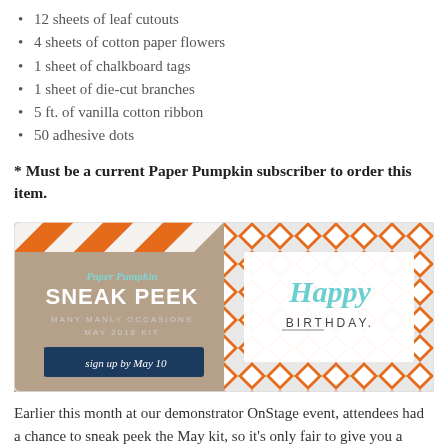12 sheets of leaf cutouts
4 sheets of cotton paper flowers
1 sheet of chalkboard tags
1 sheet of die-cut branches
5 ft. of vanilla cotton ribbon
50 adhesive dots
* Must be a current Paper Pumpkin subscriber to order this item.
[Figure (photo): Paper Pumpkin Sneak Peek promotional banner for Many Manly Occasions May 2016 Kit, showing orange geometric patterned cards and a Happy Birthday card, with text 'sign up by May 10']
Earlier this month at our demonstrator OnStage event, attendees had a chance to sneak peek the May kit, so it's only fair to give you a peek too! The Many Manly Occasions